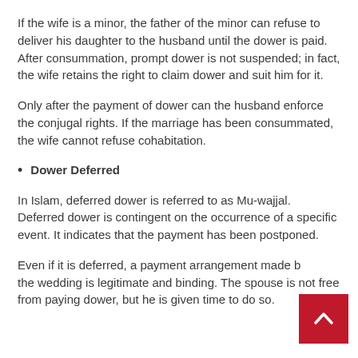If the wife is a minor, the father of the minor can refuse to deliver his daughter to the husband until the dower is paid. After consummation, prompt dower is not suspended; in fact, the wife retains the right to claim dower and suit him for it.
Only after the payment of dower can the husband enforce the conjugal rights. If the marriage has been consummated, the wife cannot refuse cohabitation.
Dower Deferred
In Islam, deferred dower is referred to as Mu-wajjal. Deferred dower is contingent on the occurrence of a specific event. It indicates that the payment has been postponed.
Even if it is deferred, a payment arrangement made before the wedding is legitimate and binding. The spouse is not free from paying dower, but he is given time to do so.